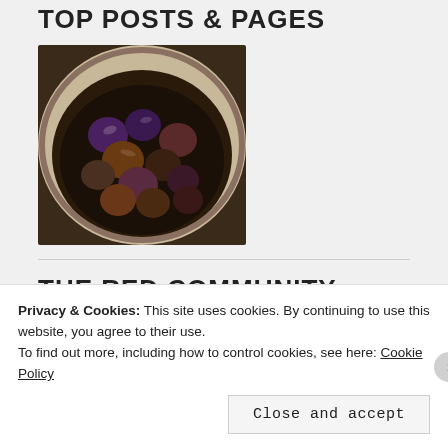TOP POSTS & PAGES
[Figure (photo): Dark bowl filled with figs or plums in liquid/water, viewed from above, dark tones]
THE RED COMMUNITY
[Figure (photo): Row of 6 avatar thumbnails: woman in field, green geometric pattern, blue/white snowflake pattern, woman with glasses, woman outdoors with water, woman close-up]
Privacy & Cookies: This site uses cookies. By continuing to use this website, you agree to their use.
To find out more, including how to control cookies, see here: Cookie Policy
Close and accept